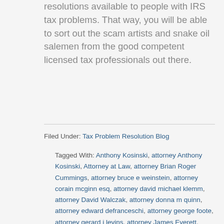resolutions available to people with IRS tax problems. That way, you will be able to sort out the scam artists and snake oil salemen from the good competent licensed tax professionals out there.
Filed Under: Tax Problem Resolution Blog
Tagged With: Anthony Kosinski, attorney Anthony Kosinski, Attorney at Law, attorney Brian Roger Cummings, attorney bruce e weinstein, attorney corain mcginn esq, attorney david michael klemm, attorney David Walczak, attorney donna m quinn, attorney edward defranceschi, attorney george foote, attorney gerard j levins, attorney James Everett, attorney Laura Anastasia Brown, attorney laura brown, attorney Leo J. Cushing Esq., attorney Matthew C. Donahue, attorney morris robinson, attorney Patrick M. Culhane, attorney richard stone, attorney rick stone, attorney Robert Adelson, attorney ronald hood, attorney Stephen Politi, attorney ted craft, attorney theodore craft, Boulay, Brian Roger Cummings, bruce e weinstein cpa esq, Certified Public Accountants, corain mcginn, Cpa, Cpa Pc, Cpas, cushing & dolan